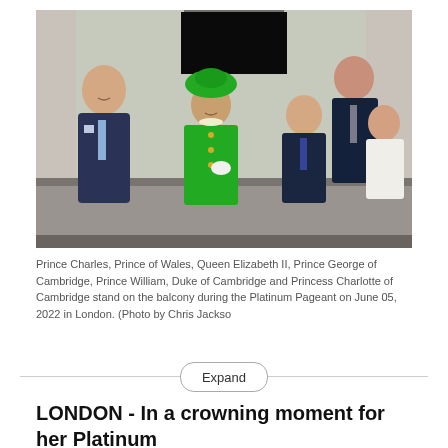[Figure (photo): Royal family members standing on the balcony of Buckingham Palace during the Platinum Pageant. Left to right: Prince Charles in navy suit, Queen Elizabeth II in bright green coat and hat, Prince George in navy suit, Prince William in dark navy suit standing behind, Princess Charlotte in white coat.]
Prince Charles, Prince of Wales, Queen Elizabeth II, Prince George of Cambridge, Prince William, Duke of Cambridge and Princess Charlotte of Cambridge stand on the balcony during the Platinum Pageant on June 05, 2022 in London. (Photo by Chris Jackso
Expand
LONDON - In a crowning moment for her Platinum